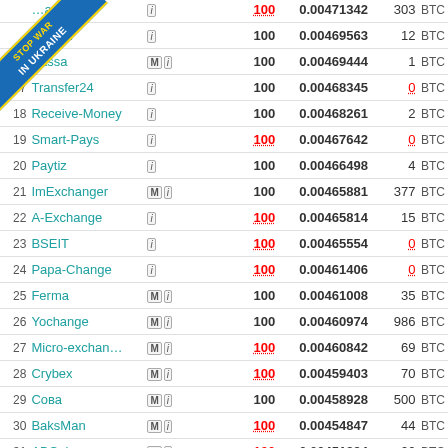| # | Exchanger | Badges | Rate | Reserve |
| --- | --- | --- | --- | --- |
|  | …ane | i | 100 | 0.00471342 | 303 BTC |
|  | …ndux | i | 100 | 0.00469563 | 12 BTC |
|  | Kassa | M i | 100 | 0.00469444 | 1 BTC |
| 17 | Transfer24 | i | 100 | 0.00468345 | 0 BTC |
| 18 | Receive-Money | i | 100 | 0.00468261 | 2 BTC |
| 19 | Smart-Pays | i | 100 | 0.00467642 | 0 BTC |
| 20 | Paytiz | i | 100 | 0.00466498 | 4 BTC |
| 21 | ImExchanger | M i | 100 | 0.00465881 | 377 BTC |
| 22 | A-Exchange | i | 100 | 0.00465814 | 15 BTC |
| 23 | BSEIT | i | 100 | 0.00465554 | 0 BTC |
| 24 | Papa-Change | i | 100 | 0.00461406 | 0 BTC |
| 25 | Ferma | M i | 100 | 0.00461008 | 35 BTC |
| 26 | Yochange | M i | 100 | 0.00460974 | 986 BTC |
| 27 | Micro-exchang… | M i | 100 | 0.00460842 | 69 BTC |
| 28 | Crybex | M i | 100 | 0.00459403 | 70 BTC |
| 29 | Сова | M i | 100 | 0.00458928 | 500 BTC |
| 30 | BaksMan | M i | 100 | 0.00454847 | 44 BTC |
| 31 | ABCobmen | M i | 100 | 0.00451294 | 90 BTC |
| 32 | RoyalCash | M i | 100 | 0.00451003 | 496 BTC |